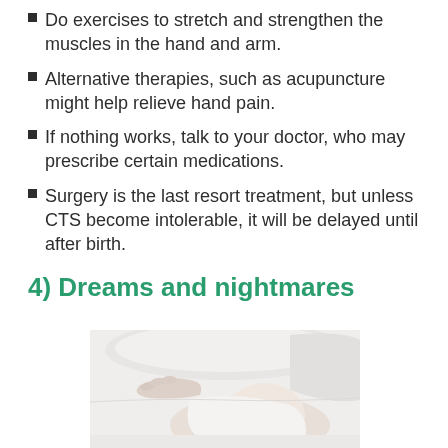Do exercises to stretch and strengthen the muscles in the hand and arm.
Alternative therapies, such as acupuncture might help relieve hand pain.
If nothing works, talk to your doctor, who may prescribe certain medications.
Surgery is the last resort treatment, but unless CTS become intolerable, it will be delayed until after birth.
4) Dreams and nightmares
[Figure (photo): A pregnant woman lying in bed surrounded by white pillows and bedding, resting on her side.]